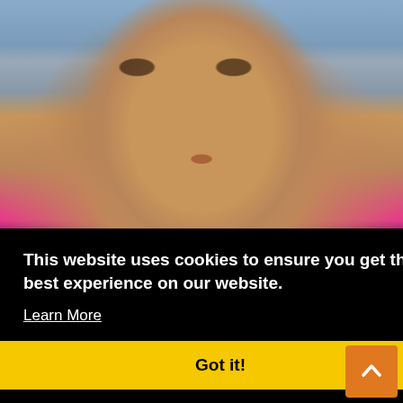[Figure (photo): Close-up portrait photo of a woman with makeup (purple eyeshadow, pink lips), wearing a pink and blue patterned top, against a grey-blue background]
[Figure (photo): Partial photo visible in bottom-right area, appears to be another portrait]
es
This website uses cookies to ensure you get the best experience on our website.
Learn More
Got it!